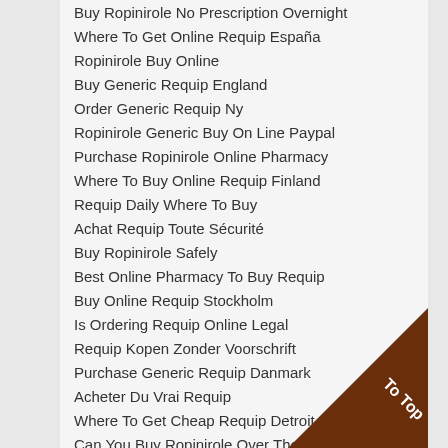Buy Ropinirole No Prescription Overnight
Where To Get Online Requip España
Ropinirole Buy Online
Buy Generic Requip England
Order Generic Requip Ny
Ropinirole Generic Buy On Line Paypal
Purchase Ropinirole Online Pharmacy
Where To Buy Online Requip Finland
Requip Daily Where To Buy
Achat Requip Toute Sécurité
Buy Ropinirole Safely
Best Online Pharmacy To Buy Requip
Buy Online Requip Stockholm
Is Ordering Requip Online Legal
Requip Kopen Zonder Voorschrift
Purchase Generic Requip Danmark
Acheter Du Vrai Requip
Where To Get Cheap Requip Detroit
Can You Buy Ropinirole Over The Counter
Paypal Ropinirole Buy
Buy Generic Ropinirole Ropinirole
Ropinirole Tablets Cost